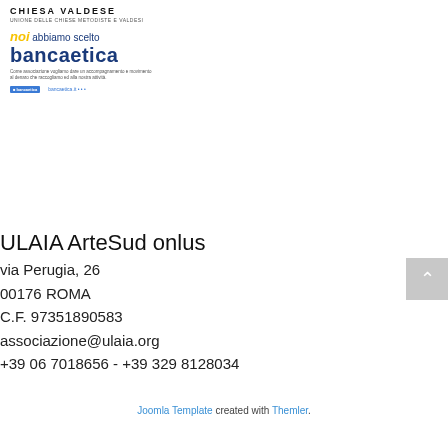[Figure (logo): Chiesa Valdese logo with text 'CHIESA VALDESE' and subtitle text below]
[Figure (logo): Noi abbiamo scelto bancaetica promotional banner with yellow 'noi' italic text, 'abbiamo scelto' in blue, 'bancaetica' in large blue bold, descriptive text below, bancaetica logo and website link]
[Figure (other): Grey scroll-to-top button with upward arrow chevron]
ULAIA ArteSud onlus
via Perugia, 26
00176 ROMA
C.F. 97351890583
associazione@ulaia.org
+39 06 7018656 - +39 329 8128034
Joomla Template created with Themler.